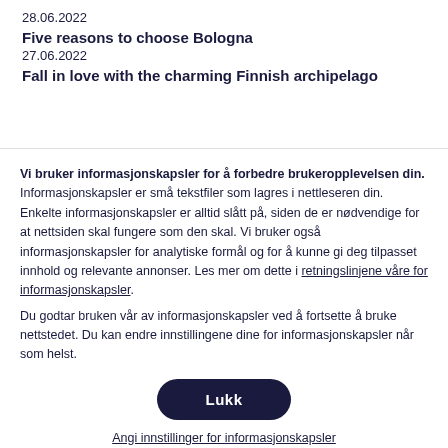28.06.2022
Five reasons to choose Bologna
27.06.2022
Fall in love with the charming Finnish archipelago
Vi bruker informasjonskapsler for å forbedre brukeropplevelsen din. Informasjonskapsler er små tekstfiler som lagres i nettleseren din. Enkelte informasjonskapsler er alltid slått på, siden de er nødvendige for at nettsiden skal fungere som den skal. Vi bruker også informasjonskapsler for analytiske formål og for å kunne gi deg tilpasset innhold og relevante annonser. Les mer om dette i retningslinjene våre for informasjonskapsler. Du godtar bruken vår av informasjonskapsler ved å fortsette å bruke nettstedet. Du kan endre innstillingene dine for informasjonskapsler når som helst.
Lukk
Angi innstillinger for informasjonskapsler